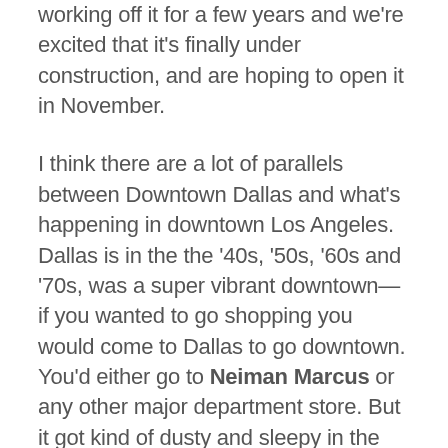working off it for a few years and we're excited that it's finally under construction, and are hoping to open it in November.
I think there are a lot of parallels between Downtown Dallas and what's happening in downtown Los Angeles. Dallas is in the the '40s, '50s, '60s and '70s, was a super vibrant downtown—if you wanted to go shopping you would come to Dallas to go downtown. You'd either go to Neiman Marcus or any other major department store. But it got kind of dusty and sleepy in the '80s and '90s. And now, you're seeing the exploration of downtown Dallas in design, culture, food, etc. Our store is really at